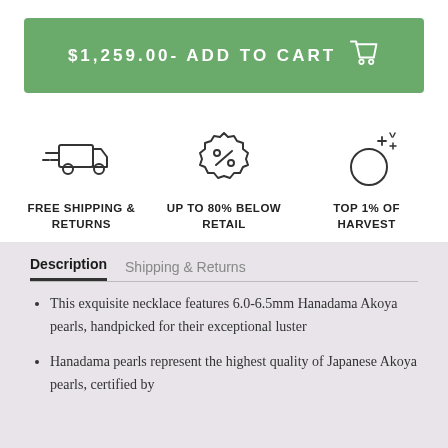[Figure (other): Green add to cart button with price $1,259.00- ADD TO CART and shopping cart icon]
[Figure (infographic): Three icons row: delivery truck (FREE SHIPPING & RETURNS), percent badge (UP TO 80% BELOW RETAIL), shining pearl (TOP 1% OF HARVEST)]
Description   Shipping & Returns
This exquisite necklace features 6.0-6.5mm Hanadama Akoya pearls, handpicked for their exceptional luster
Hanadama pearls represent the highest quality of Japanese Akoya pearls, certified by